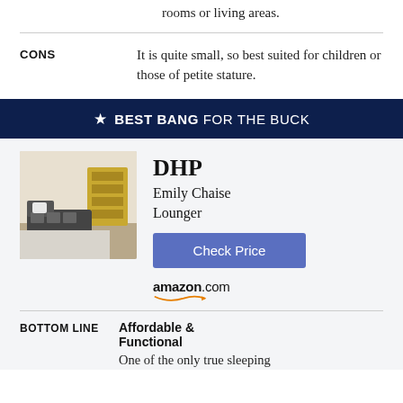rooms or living areas.
CONS
It is quite small, so best suited for children or those of petite stature.
★ BEST BANG FOR THE BUCK
[Figure (photo): Photo of DHP Emily Chaise Lounger sofa in a room setting with a bookcase in the background]
DHP
Emily Chaise Lounger
Check Price
amazon.com
BOTTOM LINE
Affordable & Functional
One of the only true sleeping